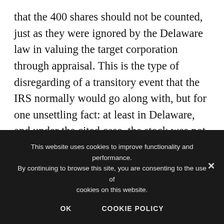that the 400 shares should not be counted, just as they were ignored by the Delaware law in valuing the target corporation through appraisal. This is the type of disregarding of a transitory event that the IRS normally would go along with, but for one unsettling fact: at least in Delaware, and under the cited case, the stock was not simply disregarded for all purposes. Indeed, the Delaware court could hardly disregard it since that stock was the
This website uses cookies to improve functionality and performance. By continuing to browse this site, you are consenting to the use of cookies on this website.
OK    COOKIE POLICY